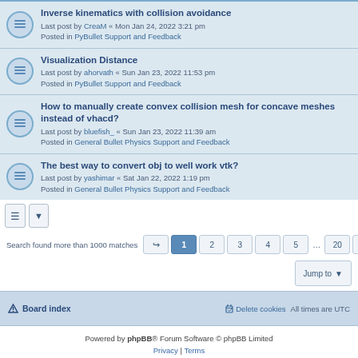Inverse kinematics with collision avoidance
Last post by CreaM « Mon Jan 24, 2022 3:21 pm
Posted in PyBullet Support and Feedback
Visualization Distance
Last post by ahorvath « Sun Jan 23, 2022 11:53 pm
Posted in PyBullet Support and Feedback
How to manually create convex collision mesh for concave meshes instead of vhacd?
Last post by bluefish_ « Sun Jan 23, 2022 11:39 am
Posted in General Bullet Physics Support and Feedback
The best way to convert obj to well work vtk?
Last post by yashimar « Sat Jan 22, 2022 1:19 pm
Posted in General Bullet Physics Support and Feedback
Search found more than 1000 matches  1 2 3 4 5 ... 20
Jump to
Board index   Delete cookies   All times are UTC
Powered by phpBB® Forum Software © phpBB Limited
Privacy | Terms